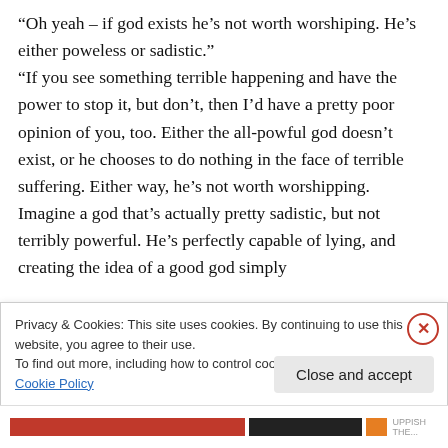“Oh yeah – if god exists he’s not worth worshiping. He’s either poweless or sadistic.” “If you see something terrible happening and have the power to stop it, but don’t, then I’d have a pretty poor opinion of you, too. Either the all-powful god doesn’t exist, or he chooses to do nothing in the face of terrible suffering. Either way, he’s not worth worshipping. Imagine a god that’s actually pretty sadistic, but not terribly powerful. He’s perfectly capable of lying, and creating the idea of a good god simply
Privacy & Cookies: This site uses cookies. By continuing to use this website, you agree to their use.
To find out more, including how to control cookies, see here: Cookie Policy
Close and accept